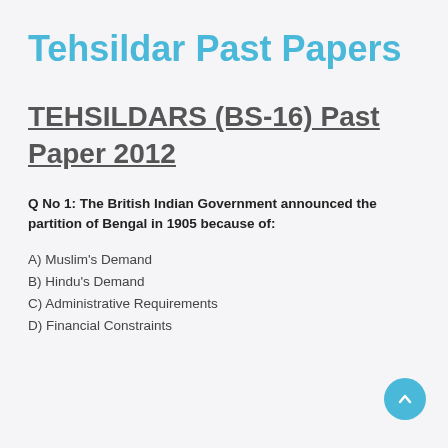Tehsildar Past Papers
TEHSILDARS (BS-16) Past Paper 2012
Q No 1: The British Indian Government announced the partition of Bengal in 1905 because of:
A) Muslim's Demand
B) Hindu's Demand
C) Administrative Requirements
D) Financial Constraints